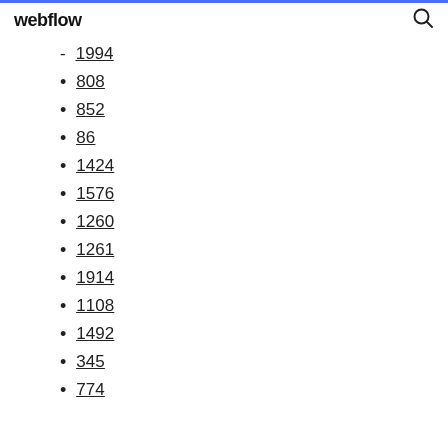webflow
1994
808
852
86
1424
1576
1260
1261
1914
1108
1492
345
774